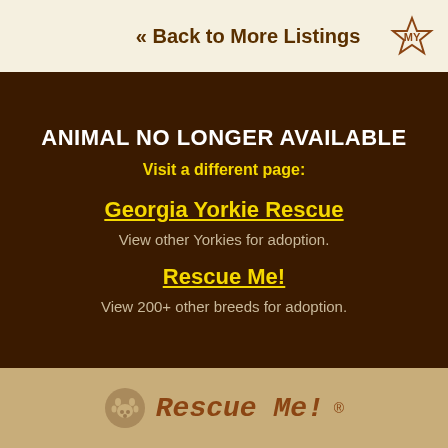« Back to More Listings
ANIMAL NO LONGER AVAILABLE
Visit a different page:
Georgia Yorkie Rescue
View other Yorkies for adoption.
Rescue Me!
View 200+ other breeds for adoption.
[Figure (logo): Rescue Me! logo with paw print icon and text]